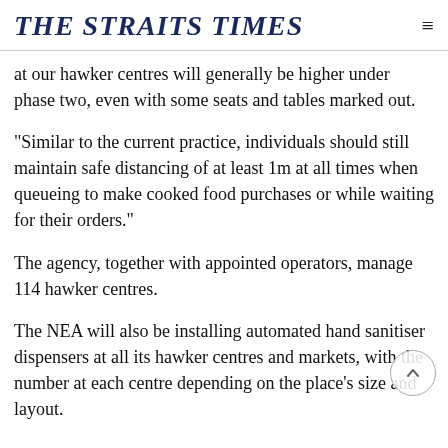THE STRAITS TIMES
at our hawker centres will generally be higher under phase two, even with some seats and tables marked out.
"Similar to the current practice, individuals should still maintain safe distancing of at least 1m at all times when queueing to make cooked food purchases or while waiting for their orders."
The agency, together with appointed operators, manage 114 hawker centres.
The NEA will also be installing automated hand sanitiser dispensers at all its hawker centres and markets, with the number at each centre depending on the place's size and layout.